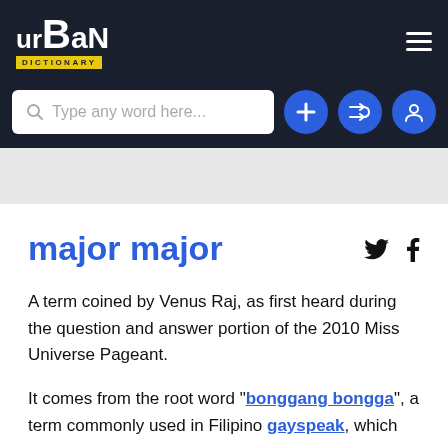urban dictionary
Type any word here...
major major
A term coined by Venus Raj, as first heard during the question and answer portion of the 2010 Miss Universe Pageant.

It comes from the root word "bonggang bongga", a term commonly used in Filipino gayspeak, which